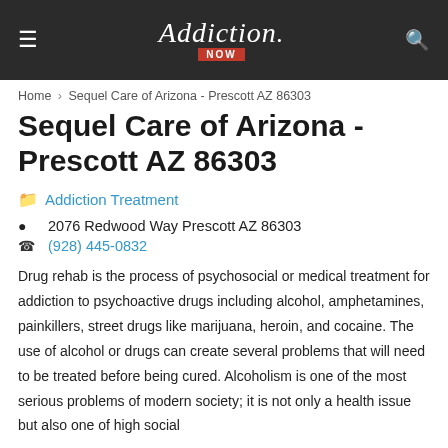Addiction Now
Home › Sequel Care of Arizona - Prescott AZ 86303
Sequel Care of Arizona - Prescott AZ 86303
Addiction Treatment
2076 Redwood Way Prescott AZ 86303
(928) 445-0832
Drug rehab is the process of psychosocial or medical treatment for addiction to psychoactive drugs including alcohol, amphetamines, painkillers, street drugs like marijuana, heroin, and cocaine. The use of alcohol or drugs can create several problems that will need to be treated before being cured. Alcoholism is one of the most serious problems of modern society; it is not only a health issue but also one of high social